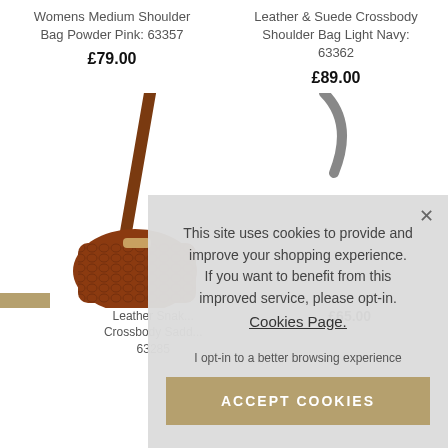Womens Medium Shoulder Bag Powder Pink: 63357
£79.00
Leather & Suede Crossbody Shoulder Bag Light Navy: 63362
£89.00
[Figure (photo): Brown leather snake print crossbody saddle bag with long shoulder strap]
[Figure (photo): Partial view of another bag in the right column]
Leather Snak... Crossbody Sadd... 63285
£65.00 (partially visible)
This site uses cookies to provide and improve your shopping experience. If you want to benefit from this improved service, please opt-in. Cookies Page.

I opt-in to a better browsing experience

ACCEPT COOKIES